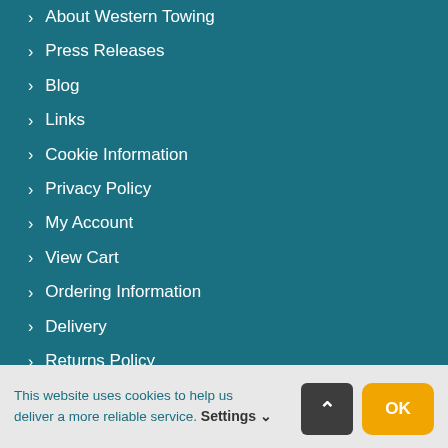> About Western Towing
> Press Releases
> Blog
> Links
> Cookie Information
> Privacy Policy
> My Account
> View Cart
> Ordering Information
> Delivery
> Returns Policy
> Terms & Conditions
> Carriage & Packing
This website uses cookies to help us deliver a more reliable service. Settings OK